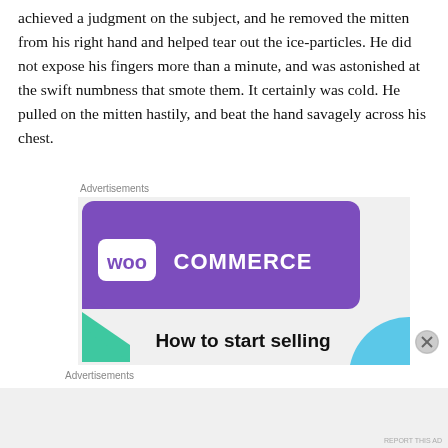achieved a judgment on the subject, and he removed the mitten from his right hand and helped tear out the ice-particles. He did not expose his fingers more than a minute, and was astonished at the swift numbness that smote them. It certainly was cold. He pulled on the mitten hastily, and beat the hand savagely across his chest.
Advertisements
[Figure (other): WooCommerce advertisement banner with purple background showing WooCommerce logo and text 'How to start selling', with teal and light blue geometric shapes]
Advertisements